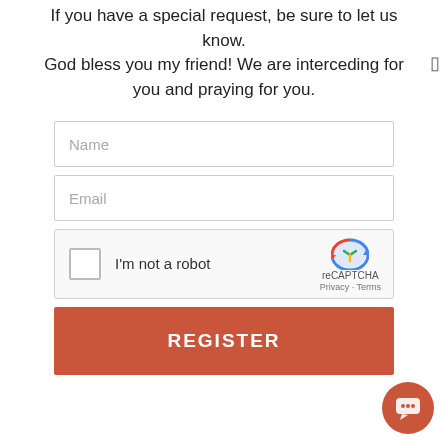If you have a special request, be sure to let us know.
God bless you my friend! We are interceding for you and praying for you.
[Figure (screenshot): Web registration form with Name input field, Email input field, reCAPTCHA widget with checkbox and logo, and an orange REGISTER button]
[Figure (other): Orange circular chat/support button in bottom-right corner]